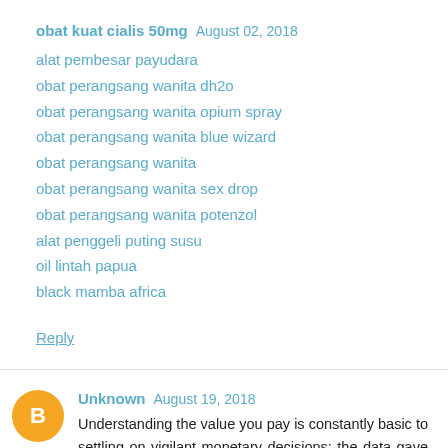obat kuat cialis 50mg  August 02, 2018
alat pembesar payudara
obat perangsang wanita dh2o
obat perangsang wanita opium spray
obat perangsang wanita blue wizard
obat perangsang wanita
obat perangsang wanita sex drop
obat perangsang wanita potenzol
alat penggeli puting susu
oil lintah papua
black mamba africa
Reply
Unknown  August 19, 2018
Understanding the value you pay is constantly basic to settling on vigilant monetary decisions; the data gave here is intended to enable you to comprehend that cost slightly more. Cash Advances San diego